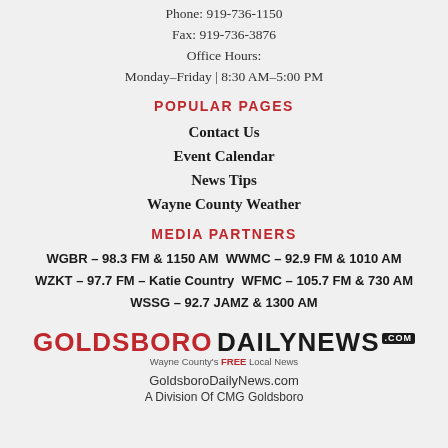Phone: 919-736-1150
Fax: 919-736-3876
Office Hours:
Monday–Friday | 8:30 AM–5:00 PM
POPULAR PAGES
Contact Us
Event Calendar
News Tips
Wayne County Weather
MEDIA PARTNERS
WGBR – 98.3 FM & 1150 AM WWMC – 92.9 FM & 1010 AM
WZKT – 97.7 FM – Katie Country WFMC – 105.7 FM & 730 AM
WSSG – 92.7 JAMZ & 1300 AM
[Figure (logo): Goldsboro Daily News logo with tagline 'Wayne County's FREE Local News']
GoldsboroDailyNews.com
A Division Of CMG Goldsboro